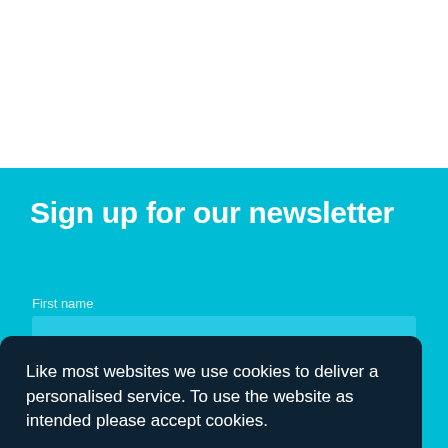Sign up for our newsletter
First name
Last name
Email
Like most websites we use cookies to deliver a personalised service. To use the website as intended please accept cookies.
Accept Cookies